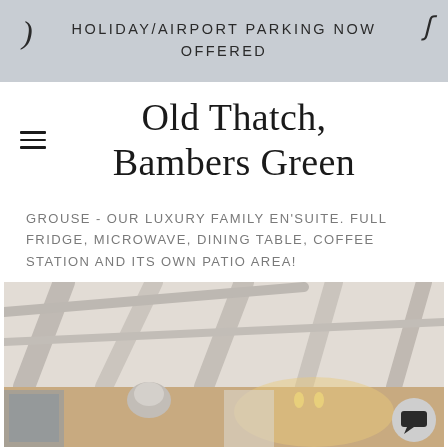HOLIDAY/AIRPORT PARKING NOW OFFERED
Old Thatch, Bambers Green
GROUSE - OUR LUXURY FAMILY EN'SUITE. FULL FRIDGE, MICROWAVE, DINING TABLE, COFFEE STATION AND ITS OWN PATIO AREA!
[Figure (photo): Interior photo of a room with white painted ceiling beams, warm lighting, a decorative cow head wall mount, and a framed picture on the wall.]